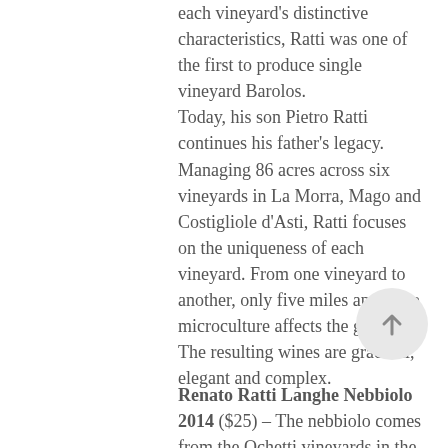each vineyard's distinctive characteristics, Ratti was one of the first to produce single vineyard Barolos.
Today, his son Pietro Ratti continues his father's legacy. Managing 86 acres across six vineyards in La Morra, Mago and Costigliole d'Asti, Ratti focuses on the uniqueness of each vineyard. From one vineyard to another, only five miles apart, the microculture affects the grapes. The resulting wines are graceful, elegant and complex.
[Figure (other): Scroll-to-top circular button with an upward arrow icon]
Renato Ratti Langhe Nebbiolo 2014 ($25) – The nebbiolo comes from the Ochetti vineyards in the sandy hills above the Tanaro River. After one year in